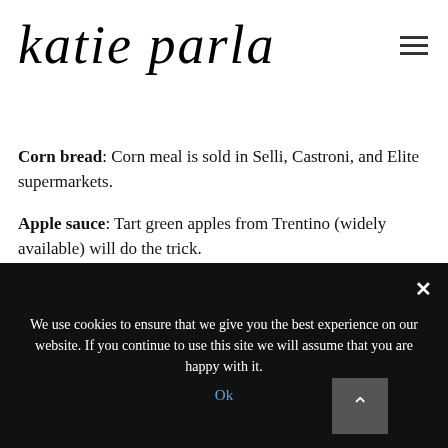katie parla
Corn bread: Corn meal is sold in Selli, Castroni, and Elite supermarkets.
Apple sauce: Tart green apples from Trentino (widely available) will do the trick.
Squash: The international shops around Piazza Vittorio have a good selection of squash varieties.
Pumpkin Pie: Fresh pumpkins are sold all over Rome. Castroni carries the canned stuff.
We use cookies to ensure that we give you the best experience on our website. If you continue to use this site we will assume that you are happy with it.
Ok